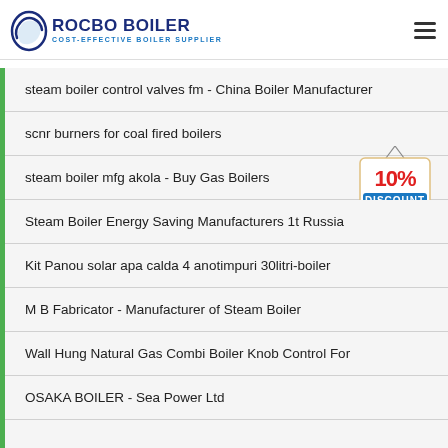[Figure (logo): Rocbo Boiler logo with circular icon and text 'ROCBO BOILER - COST-EFFECTIVE BOILER SUPPLIER']
steam boiler control valves fm - China Boiler Manufacturer
scnr burners for coal fired boilers
steam boiler mfg akola - Buy Gas Boilers
[Figure (illustration): 10% DISCOUNT badge in red and blue on hanging sign]
Steam Boiler Energy Saving Manufacturers 1t Russia
Kit Panou solar apa calda 4 anotimpuri 30litri-boiler
M B Fabricator - Manufacturer of Steam Boiler
Wall Hung Natural Gas Combi Boiler Knob Control For
OSAKA BOILER - Sea Power Ltd